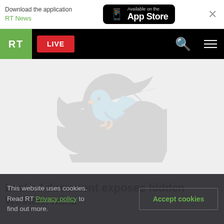Download the application RT News — Available on the App Store
RT LIVE
[Figure (screenshot): Faint Twitter/social media bird icon on light grey background, used as article image placeholder]
Leaked document exposes hidden Western hand
This website uses cookies. Read RT Privacy policy to find out more. Accept cookies